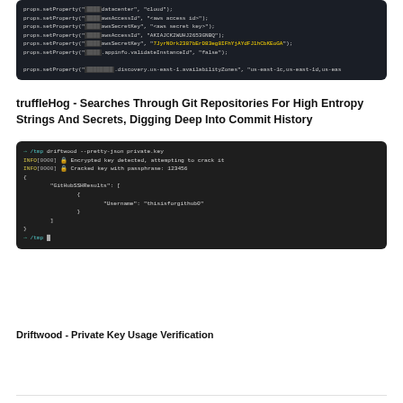[Figure (screenshot): Dark terminal/code block showing props.setProperty calls with datacenter, awsAccessId, awsSecretKey, appinfo.validateInstanceId, and discovery.us-east-1.availabilityZones properties including an AWS access key and secret key.]
truffleHog - Searches Through Git Repositories For High Entropy Strings And Secrets, Digging Deep Into Commit History
[Figure (screenshot): Dark terminal output showing driftwood --pretty-json private.key command with INFO[0000] messages about encrypted key detection and cracking with passphrase 123456, followed by JSON output with GitHubSSHResults containing Username: thisisforgithub0]
Driftwood - Private Key Usage Verification